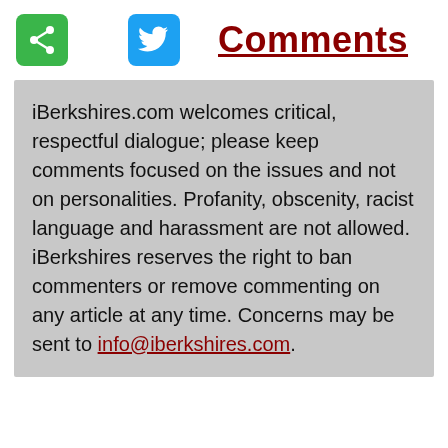[Figure (other): Green share button icon with white share symbol]
[Figure (other): Blue Twitter button icon with white bird logo]
Comments
iBerkshires.com welcomes critical, respectful dialogue; please keep comments focused on the issues and not on personalities. Profanity, obscenity, racist language and harassment are not allowed. iBerkshires reserves the right to ban commenters or remove commenting on any article at any time. Concerns may be sent to info@iberkshires.com.